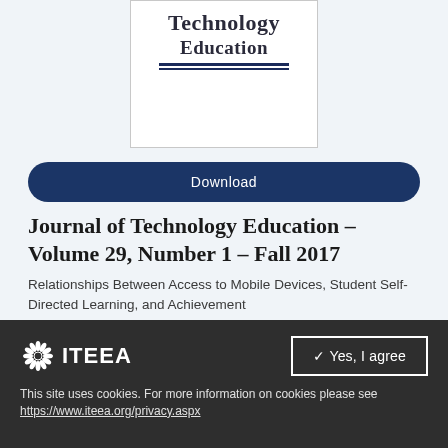[Figure (illustration): Journal of Technology Education cover image showing partial title text 'Technology Education' with decorative serif font and double underline, on a white background]
Download
Journal of Technology Education – Volume 29, Number 1 – Fall 2017
Relationships Between Access to Mobile Devices, Student Self-Directed Learning, and Achievement
[Figure (logo): ITEEA logo with starburst/shell icon and bold text ITEEA]
Yes, I agree
This site uses cookies. For more information on cookies please see https://www.iteea.org/privacy.aspx